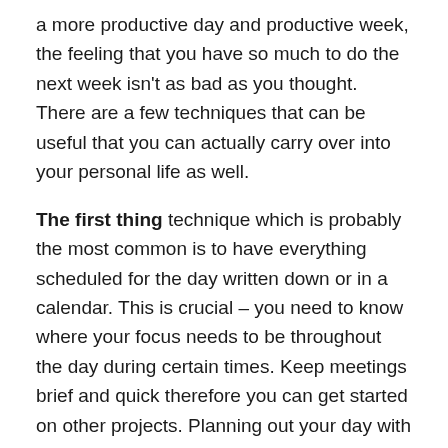a more productive day and productive week, the feeling that you have so much to do the next week isn't as bad as you thought. There are a few techniques that can be useful that you can actually carry over into your personal life as well.
The first thing technique which is probably the most common is to have everything scheduled for the day written down or in a calendar. This is crucial – you need to know where your focus needs to be throughout the day during certain times. Keep meetings brief and quick therefore you can get started on other projects. Planning out your day with times where you'll need to talk with team members or clients is #1 because those are where you are going to succeed the most and you can utilize where and when to put your energy.